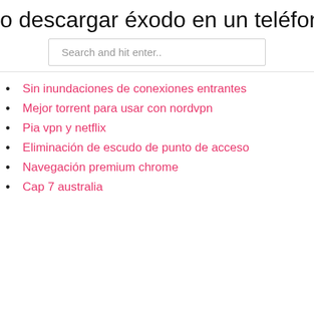o descargar éxodo en un teléfono an
Search and hit enter..
Sin inundaciones de conexiones entrantes
Mejor torrent para usar con nordvpn
Pia vpn y netflix
Eliminación de escudo de punto de acceso
Navegación premium chrome
Cap 7 australia